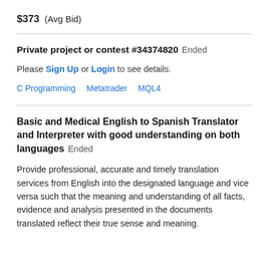$373  (Avg Bid)
Private project or contest #34374820  Ended
Please Sign Up or Login to see details.
C Programming   Metatrader   MQL4
Basic and Medical English to Spanish Translator and Interpreter with good understanding on both languages  Ended
Provide professional, accurate and timely translation services from English into the designated language and vice versa such that the meaning and understanding of all facts, evidence and analysis presented in the documents translated reflect their true sense and meaning.